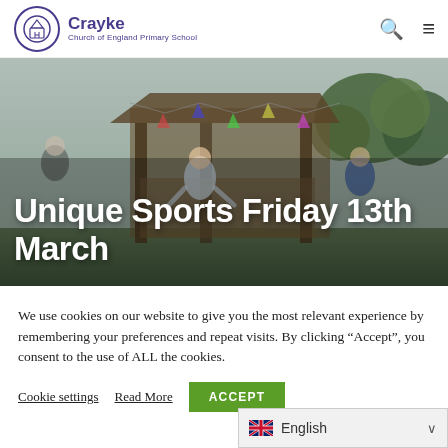Crayke Church of England Primary School
[Figure (photo): Children running outdoors at a school playground with a wooden gazebo structure and bunting decorations in the background]
Unique Sports Friday 13th March
We use cookies on our website to give you the most relevant experience by remembering your preferences and repeat visits. By clicking “Accept”, you consent to the use of ALL the cookies.
Cookie settings   Read More   ACCEPT
English